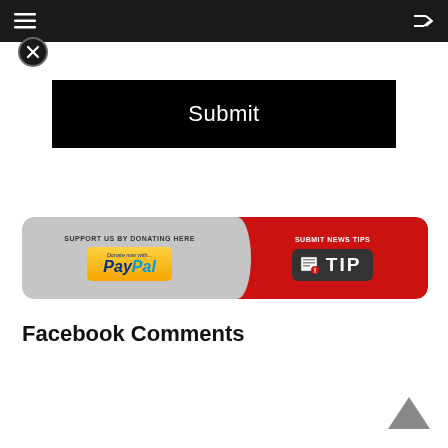Navigation bar with hamburger menu and shuffle icon
[Figure (screenshot): Close/X button icon in a circle]
Submit
[Figure (infographic): Banner with two sections: left grey section 'SUPPORT US BY DONATING HERE' with PayPal donate button, right red section 'SUBMIT NEWS TIPS' with TIP button]
Facebook Comments
[Figure (other): Back to top chevron arrow icon]